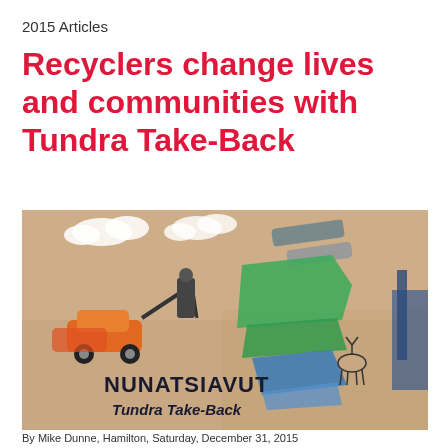2015 Articles
Recyclers change lives and communities with Tundra Take-Back
[Figure (photo): A close-up photograph of a tattoo on a person's arm showing the Tundra Take-Back program imagery, including a car being towed/scrapped, an inukshuk, caribou, clouds, and green/blue/grey colored shapes. The tattoo text reads 'NUNATSIAVUT' and 'Tundra Take-Back'.]
By Mike Dunne, Hamilton, Saturday, December 31, 2015